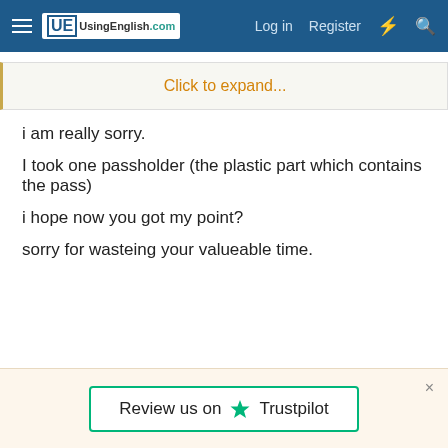UsingEnglish.com — Log in   Register
Click to expand...
i am really sorry.
I took one passholder (the plastic part which contains the pass)
i hope now you got my point?
sorry for wasteing your valueable time.
[Figure (logo): Review us on Trustpilot button with green star logo]